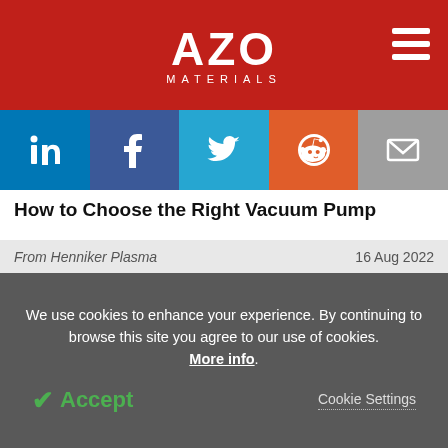AZO MATERIALS
[Figure (infographic): Social sharing buttons: LinkedIn (blue), Facebook (dark blue), Twitter (light blue), Reddit (orange), Email (grey)]
How to Choose the Right Vacuum Pump
From Henniker Plasma   16 Aug 2022
Editorial Highlights
[Figure (photo): Green fidget spinner or fan-like object on green background]
A to Z of Lithium-Ion Battery Recycling
We use cookies to enhance your experience. By continuing to browse this site you agree to our use of cookies. More info.
Accept   Cookie Settings